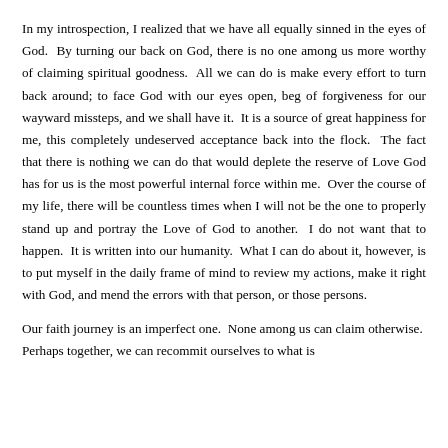In my introspection, I realized that we have all equally sinned in the eyes of God. By turning our back on God, there is no one among us more worthy of claiming spiritual goodness. All we can do is make every effort to turn back around; to face God with our eyes open, beg of forgiveness for our wayward missteps, and we shall have it. It is a source of great happiness for me, this completely undeserved acceptance back into the flock. The fact that there is nothing we can do that would deplete the reserve of Love God has for us is the most powerful internal force within me. Over the course of my life, there will be countless times when I will not be the one to properly stand up and portray the Love of God to another. I do not want that to happen. It is written into our humanity. What I can do about it, however, is to put myself in the daily frame of mind to review my actions, make it right with God, and mend the errors with that person, or those persons.
Our faith journey is an imperfect one. None among us can claim otherwise. Perhaps together, we can recommit ourselves to what is